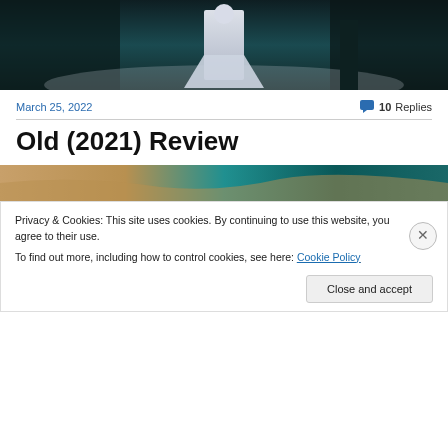[Figure (photo): Dark cinematic scene showing a figure in white clothing standing in a garden or outdoor setting with dark hedges or trees in background, bluish teal tone]
March 25, 2022
10 Replies
Old (2021) Review
[Figure (photo): Aerial view of beach showing sandy shore meeting teal ocean water]
Privacy & Cookies: This site uses cookies. By continuing to use this website, you agree to their use.
To find out more, including how to control cookies, see here: Cookie Policy
Close and accept